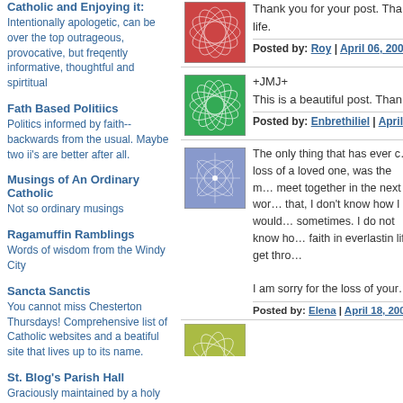Catholic and Enjoying it!
Intentionally apologetic, can be over the top outrageous, provocative, but freqently informative, thoughtful and spirtitual
Fath Based Politiics
Politics informed by faith--backwards from the usual. Maybe two ii's are better after all.
Musings of An Ordinary Catholic
Not so ordinary musings
Ragamuffin Ramblings
Words of wisdom from the Windy City
Sancta Sanctis
You cannot miss Chesterton Thursdays! Comprehensive list of Catholic websites and a beatiful site that lives up to its name.
St. Blog's Parish Hall
Graciously maintained by a holy person, whose virtue must be patience, a lengthy list of Catholic blogs, both apologetic and unapologetic.
The Squire
Running from the thought police, and
Thank you for your post. Tha… life.
Posted by: Roy | April 06, 2006 at 1…
+JMJ+
This is a beautiful post. Than…
Posted by: Enbrethiliel | April 17, 2…
The only thing that has ever c… loss of a loved one, was the m… meet together in the next wor… that, I don't know how I would… sometimes. I do not know ho… faith in everlastin life get thro…
I am sorry for the loss of your…
Posted by: Elena | April 18, 2006 at…